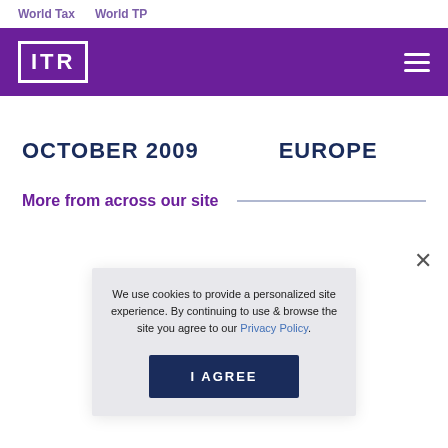World Tax   World TP
[Figure (logo): ITR logo in white on purple background with navigation hamburger menu]
OCTOBER 2009    EUROPE
More from across our site
We use cookies to provide a personalized site experience. By continuing to use & browse the site you agree to our Privacy Policy.
I AGREE